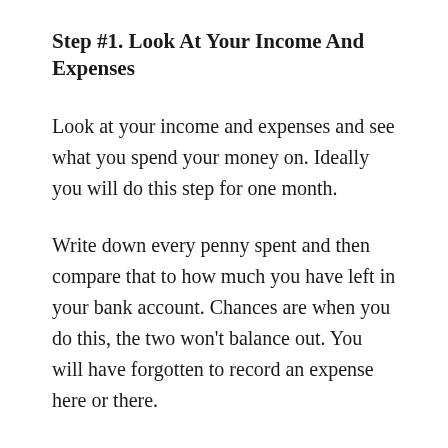Step #1. Look At Your Income And Expenses
Look at your income and expenses and see what you spend your money on. Ideally you will do this step for one month.
Write down every penny spent and then compare that to how much you have left in your bank account. Chances are when you do this, the two won’t balance out. You will have forgotten to record an expense here or there.
This is OK. Just add a line for the difference and call it “WTHK”, which is short for “Who